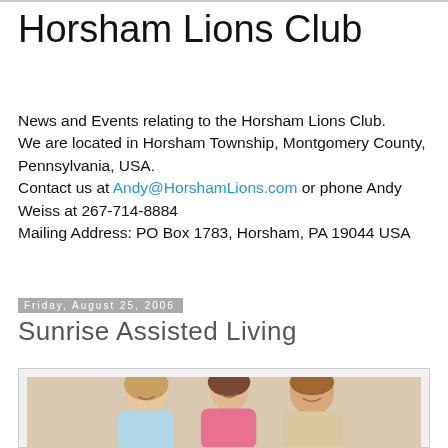Horsham Lions Club
News and Events relating to the Horsham Lions Club. We are located in Horsham Township, Montgomery County, Pennsylvania, USA. Contact us at Andy@HorshamLions.com or phone Andy Weiss at 267-714-8884 Mailing Address: PO Box 1783, Horsham, PA 19044 USA
Friday, August 25, 2006
Sunrise Assisted Living
[Figure (photo): Three people posing together indoors — two women and one man. The woman on the left is wearing a light blue shirt, the woman in the center is wearing a pink shirt, and the man on the right is wearing a beige polo shirt. They are smiling at the camera.]